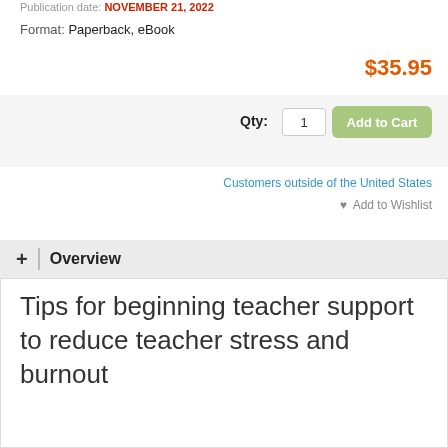Publication date: NOVEMBER 21, 2022
Format: Paperback, eBook
$35.95
Qty: 1  Add to Cart
Customers outside of the United States
♥ Add to Wishlist
+ | Overview
Tips for beginning teacher support to reduce teacher stress and burnout